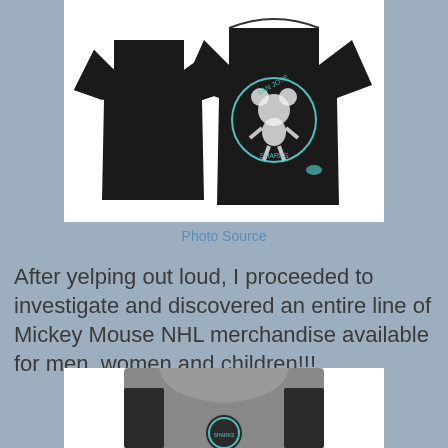[Figure (photo): Two black San Jose Sharks Mickey Mouse t-shirts displayed, one showing the back and one showing the front with a Mickey Mouse graphic and 'San Jose Sharks' text]
Photo Source
After yelping out loud, I proceeded to investigate and discovered an entire line of Mickey Mouse NHL merchandise available for men, women and children!!!
[Figure (photo): Gray and black San Jose Sharks Mickey Mouse hoodie sweatshirt, partially visible]